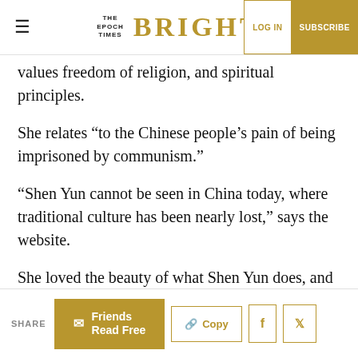The Epoch Times | BRIGHT | LOG IN | SUBSCRIBE
values freedom of religion, and spiritual principles.
She relates “to the Chinese people’s pain of being imprisoned by communism.”
“Shen Yun cannot be seen in China today, where traditional culture has been nearly lost,” says the website.
She loved the beauty of what Shen Yun does, and “also I feel a relationship with the people’s pain in China,” she said.
“There’s less …spirituality today, and I think a show like…
SHARE | Friends Read Free | Copy | f | 